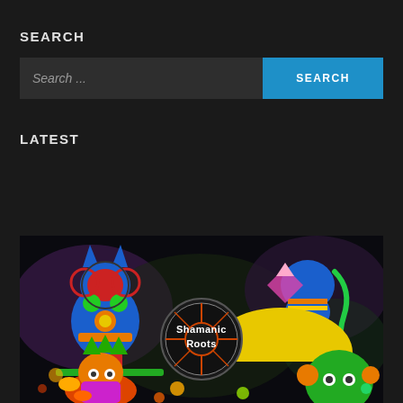SEARCH
[Figure (screenshot): Search bar with placeholder text 'Search ...' and a teal SEARCH button on dark background]
LATEST
[Figure (illustration): Colorful psychedelic illustration with shamanic animal figures, a circular logo reading 'Shamanic Roots' in the center, on a dark cosmic background]